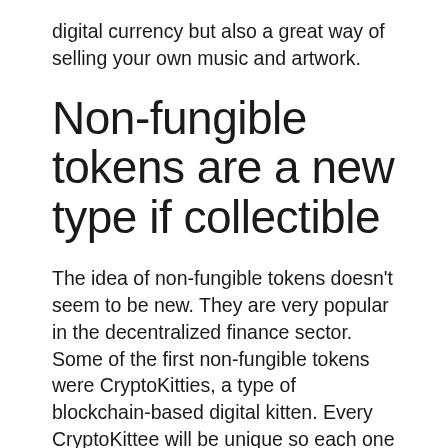digital currency but also a great way of selling your own music and artwork.
Non-fungible tokens are a new type if collectible
The idea of non-fungible tokens doesn't seem to be new. They are very popular in the decentralized finance sector. Some of the first non-fungible tokens were CryptoKitties, a type of blockchain-based digital kitten. Every CryptoKittee will be unique so each one you receive may differ from the one that you sent. CryptoPunks are another popular token that is not fungible. These are 10,000